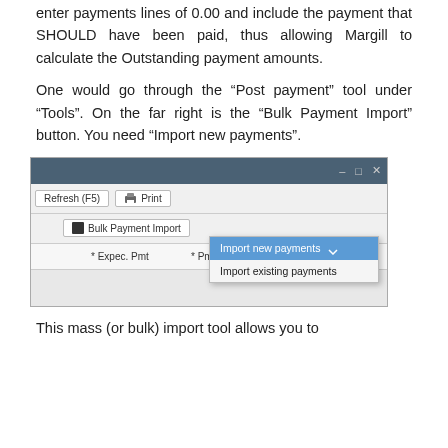enter payments lines of 0.00 and include the payment that SHOULD have been paid, thus allowing Margill to calculate the Outstanding payment amounts.
One would go through the “Post payment” tool under “Tools”. On the far right is the “Bulk Payment Import” button. You need “Import new payments”.
[Figure (screenshot): Screenshot of Margill software showing a toolbar with Refresh (F5), Print, and Bulk Payment Import buttons. A dropdown menu is open showing 'Import new payments' (highlighted in blue) and 'Import existing payments' options. Column headers show '* Expec. Pmt' and '* Pmt Due Date'.]
This mass (or bulk) import tool allows you to